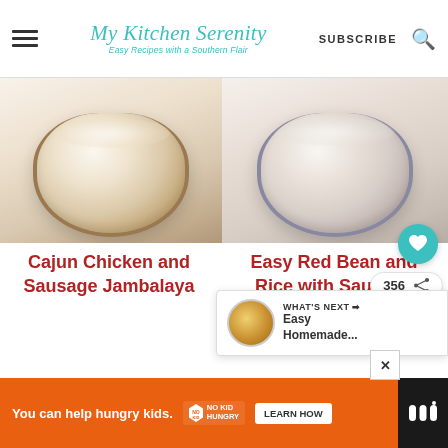My Kitchen Serenity — Easy Recipes with a Southern Flair | SUBSCRIBE
[Figure (photo): Food photo of Cajun Chicken and Sausage Jambalaya in a bowl, left column]
[Figure (photo): Food photo of Easy Red Bean and Rice with Sausage in a bowl, right column]
Cajun Chicken and Sausage Jambalaya
Easy Red Bean and Rice with Sausage
356
WHAT'S NEXT → Easy Homemade...
You can help hungry kids. | NO KID HUNGRY | LEARN HOW